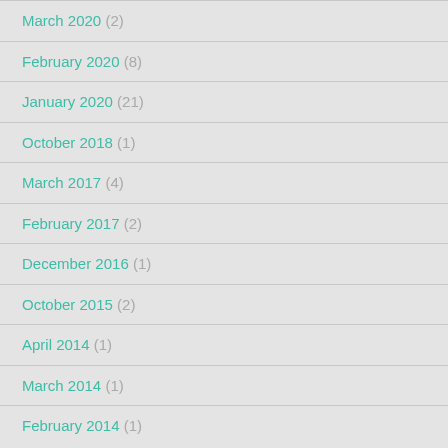March 2020 (2)
February 2020 (8)
January 2020 (21)
October 2018 (1)
March 2017 (4)
February 2017 (2)
December 2016 (1)
October 2015 (2)
April 2014 (1)
March 2014 (1)
February 2014 (1)